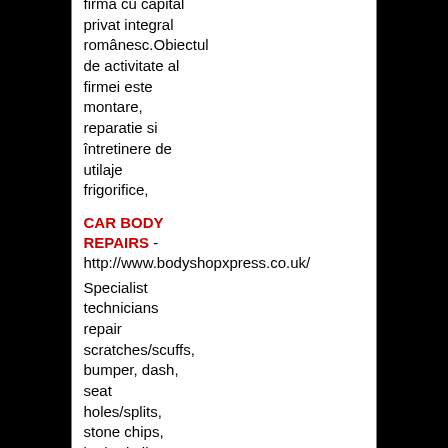firma cu capital privat integral românesc.Obiectul de activitate al firmei este montare, reparatie si întretinere de utilaje frigorifice,
CAR BODY REPAIRS - http://www.bodyshopxpress.co.uk/
Specialist technicians repair scratches/scuffs, bumper, dash, seat holes/splits, stone chips, kerbed alloys, alloy corrosion, bulls eye etc.
Car Turbo Repairs Blackpool UK
-